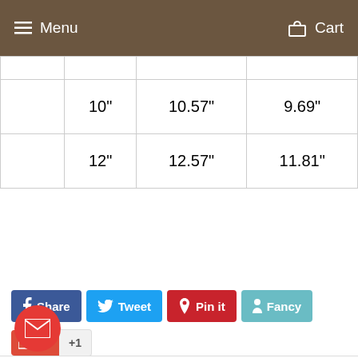Menu   Cart
|  |  |  |  |
| --- | --- | --- | --- |
|  | 10" | 10.57" | 9.69" |
|  | 12" | 12.57" | 11.81" |
Share  Tweet  Pin it  Fancy  +1
CUSTOMER REVIEWS
☆☆☆☆☆ Be the first to write a review
Write a review